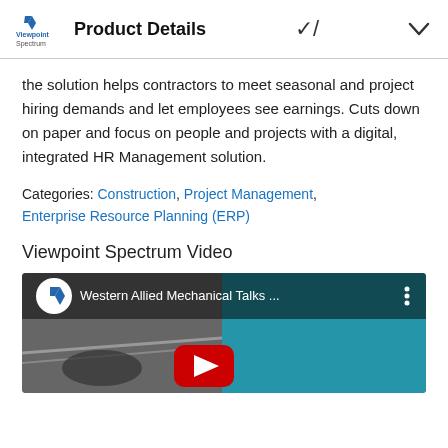Product Details
the solution helps contractors to meet seasonal and project hiring demands and let employees see earnings. Cuts down on paper and focus on people and projects with a digital, integrated HR Management solution.
Categories: Construction, Project Management, Enterprise Resource Planning (ERP)
Viewpoint Spectrum Video
[Figure (screenshot): YouTube video thumbnail showing 'Western Allied Mechanical Talks ...' with Viewpoint logo and a dark industrial/mechanical background image with a YouTube play button overlay]